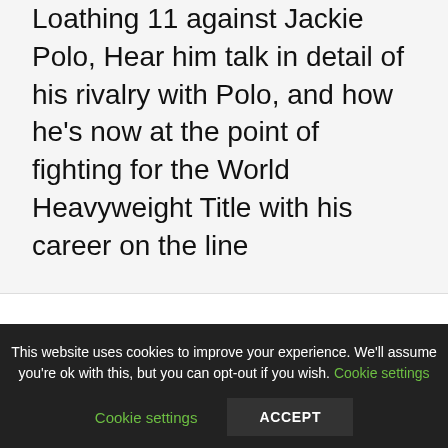Loathing 11 against Jackie Polo, Hear him talk in detail of his rivalry with Polo, and how he's now at the point of fighting for the World Heavyweight Title with his career on the line
Ahead of his massive SSE Hydro Fear and Loathing world title match with Jackie Polo, Lionheart spoke to Suplex Retweet about his chances.
Listen now on
This website uses cookies to improve your experience. We'll assume you're ok with this, but you can opt-out if you wish. Cookie settings ACCEPT